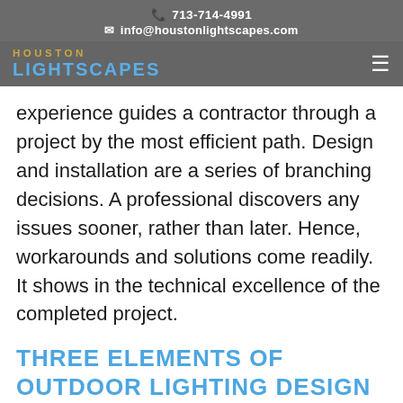📞 713-714-4991
✉ info@houstonlightscapes.com
[Figure (logo): Houston Lightscapes logo with navigation hamburger menu, on dark grey semi-transparent bar]
experience guides a contractor through a project by the most efficient path. Design and installation are a series of branching decisions. A professional discovers any issues sooner, rather than later. Hence, workarounds and solutions come readily. It shows in the technical excellence of the completed project.
THREE ELEMENTS OF OUTDOOR LIGHTING DESIGN
Task lighting is there to perform a practical service. Its values are safety,